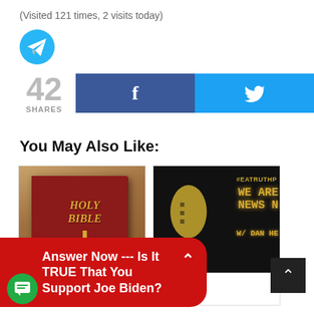(Visited 121 times, 2 visits today)
[Figure (logo): Telegram share icon - blue circle with white paper plane]
42 SHARES
[Figure (infographic): Facebook share button (blue with f) and Twitter share button (cyan with bird icon)]
You May Also Like:
[Figure (photo): Holy Bible with gold cross on cover]
[Figure (photo): Podcast graphic: #EATRUTHP WE ARE NEWS N W/ DAN HE with microphone silhouette]
The Govern mpiling a Join Me Ever
[Figure (infographic): Red popup banner: Answer Now --- Is It TRUE That You Support Joe Biden? with chevron up]
[Figure (infographic): Green chat icon bubble at bottom left]
[Figure (infographic): Dark scroll-to-top button at bottom right with up chevron]